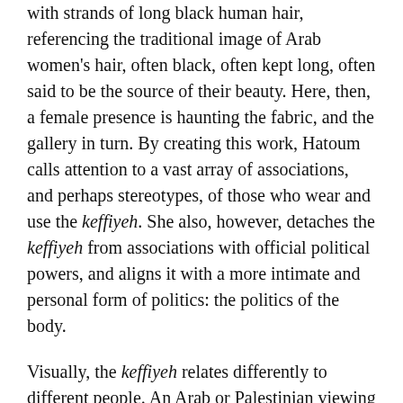with strands of long black human hair, referencing the traditional image of Arab women's hair, often black, often kept long, often said to be the source of their beauty. Here, then, a female presence is haunting the fabric, and the gallery in turn. By creating this work, Hatoum calls attention to a vast array of associations, and perhaps stereotypes, of those who wear and use the keffiyeh. She also, however, detaches the keffiyeh from associations with official political powers, and aligns it with a more intimate and personal form of politics: the politics of the body.
Visually, the keffiyeh relates differently to different people. An Arab or Palestinian viewing this work may have a different (and perhaps a more personal) trigger than others. In global media representations, the keffiyeh became associated with Yasir Arafat, the former president of the Palestinian National Authority (1994–